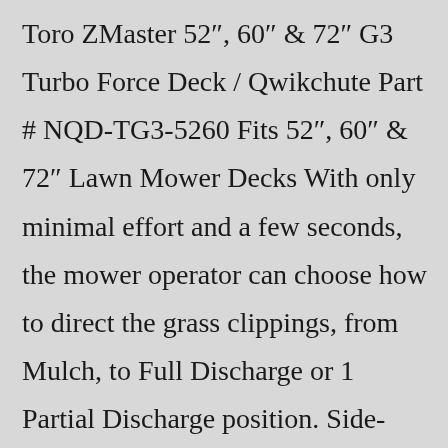Toro ZMaster 52″, 60″ & 72″ G3 Turbo Force Deck / Qwikchute Part # NQD-TG3-5260 Fits 52″, 60″ & 72″ Lawn Mower Decks With only minimal effort and a few seconds, the mower operator can choose how to direct the grass clippings, from Mulch, to Full Discharge or 1 Partial Discharge position. Side-Discharge and Mulch: ... Technical Specs for the Toro SS4225* Engine; Engine Brand: Toro: